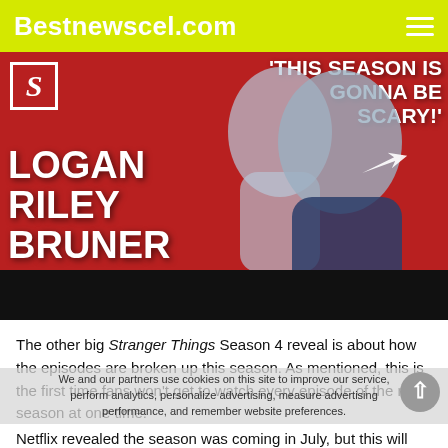Bestnewscel.com
[Figure (photo): Thumbnail image with red background showing two people. Text overlay reads: 'THIS SEASON IS GONNA BE SCARY!' and 'LOGAN RILEY BRUNER'. An 'S' logo is in the top left corner. Black bar at the bottom.]
The other big Stranger Things Season 4 reveal is about how the episodes are broken up this season. As mentioned, this is the first time fans won't get to watch every episode of the new season at one time.
We and our partners use cookies on this site to improve our service, perform analytics, personalize advertising, measure advertising performance, and remember website preferences.
Netflix revealed the season was coming in July, but this will